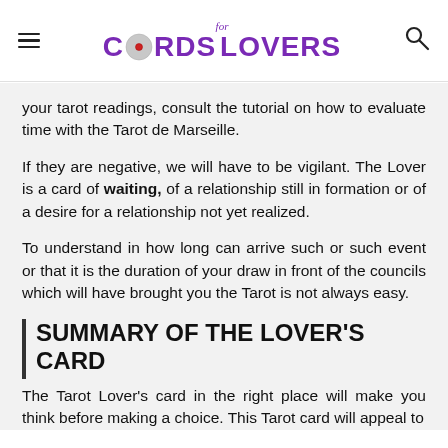for Cards Lovers
your tarot readings, consult the tutorial on how to evaluate time with the Tarot de Marseille.
If they are negative, we will have to be vigilant. The Lover is a card of waiting, of a relationship still in formation or of a desire for a relationship not yet realized.
To understand in how long can arrive such or such event or that it is the duration of your draw in front of the councils which will have brought you the Tarot is not always easy.
SUMMARY OF THE LOVER'S CARD
The Tarot Lover's card in the right place will make you think before making a choice. This Tarot card will appeal to